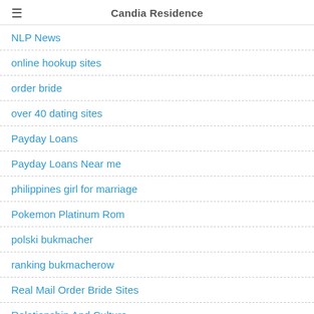Candia Residence
NLP News
online hookup sites
order bride
over 40 dating sites
Payday Loans
Payday Loans Near me
philippines girl for marriage
Pokemon Platinum Rom
polski bukmacher
ranking bukmacherow
Real Mail Order Bride Sites
Relationship And Culture